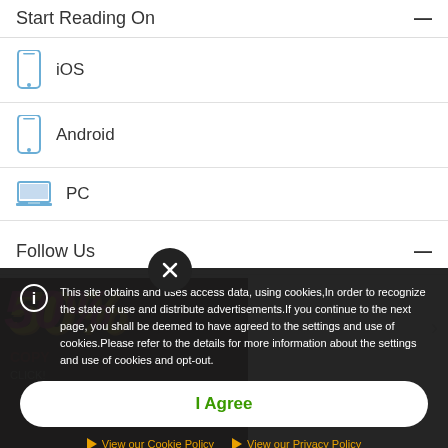Start Reading On
iOS
Android
PC
Follow Us
[Figure (screenshot): Promotional banner showing '50%' in pink/magenta text on dark yellow background with 'COPY' text and 'CLICK!' overlay]
This site obtains and uses access data, using cookies,In order to recognize the state of use and distribute advertisements.If you continue to the next page, you shall be deemed to have agreed to the settings and use of cookies.Please refer to the details for more information about the settings and use of cookies and opt-out.
I Agree
View our Cookie Policy   View our Privacy Policy